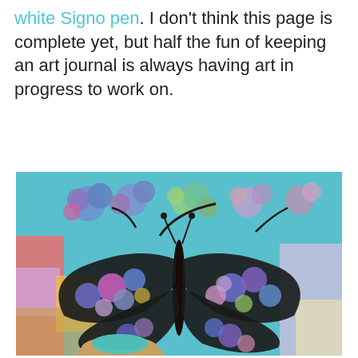white Signo pen. I don't think this page is complete yet, but half the fun of keeping an art journal is always having art in progress to work on.
[Figure (photo): A colorful mixed-media art journal page featuring a butterfly with stained-glass style circular patterns in blues, purples, pinks, and greens, with flowers in the background on a teal/blue ground. A hand with teal nail polish is visible at the bottom holding the page.]